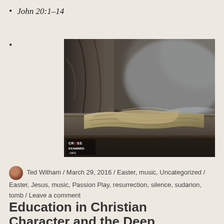John 20:1–14
[Figure (photo): Close-up photograph of folded burial cloth/linen inside a stone tomb, with dark rocky background and misty light. Cross Examined .org watermark logo visible in lower left corner.]
Ted Witham / March 29, 2016 / Easter, music, Uncategorized / Easter, Jesus, music, Passion Play, resurrection, silence, sudarion, tomb / Leave a comment
Education in Christian Character and the Deap